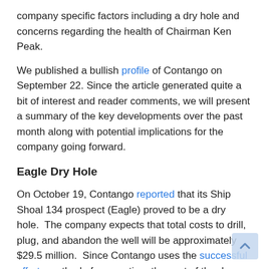company specific factors including a dry hole and concerns regarding the health of Chairman Ken Peak.
We published a bullish profile of Contango on September 22. Since the article generated quite a bit of interest and reader comments, we will present a summary of the key developments over the past month along with potential implications for the company going forward.
Eagle Dry Hole
On October 19, Contango reported that its Ship Shoal 134 prospect (Eagle) proved to be a dry hole. The company expects that total costs to drill, plug, and abandon the well will be approximately $29.5 million. Since Contango uses the successful efforts method of accounting, the cost of the dry hole will appear as an exploration expense incurred during the current quarter. Contango's production operations are very profitable so it appears likely that the cost of the dry hole will be partially offset due to tax effects. Assuming a